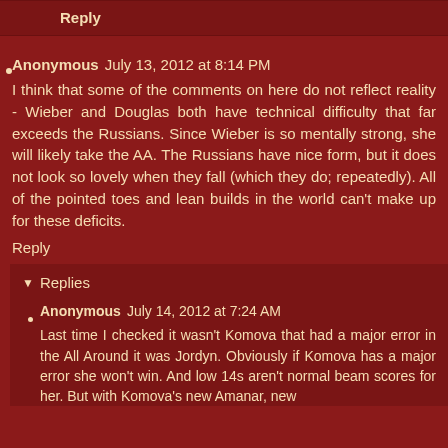Reply
Anonymous July 13, 2012 at 8:14 PM
I think that some of the comments on here do not reflect reality - Wieber and Douglas both have technical difficulty that far exceeds the Russians. Since Wieber is so mentally strong, she will likely take the AA. The Russians have nice form, but it does not look so lovely when they fall (which they do; repeatedly). All of the pointed toes and lean builds in the world can't make up for these deficits.
Reply
Replies
Anonymous July 14, 2012 at 7:24 AM
Last time I checked it wasn't Komova that had a major error in the All Around it was Jordyn. Obviously if Komova has a major error she won't win. And low 14s aren't normal beam scores for her. But with Komova's new Amanar, new